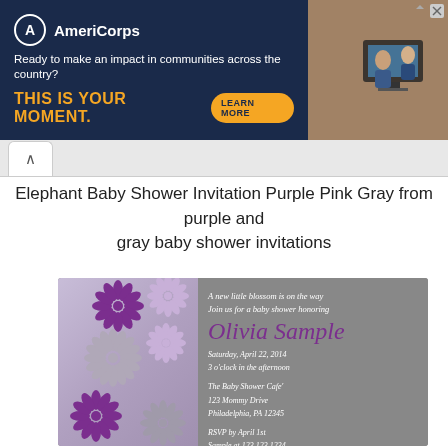[Figure (photo): AmeriCorps advertisement banner with dark blue background, logo, tagline 'Ready to make an impact in communities across the country?', call to action 'THIS IS YOUR MOMENT.' with Learn More button, and photo of people at computers on right side]
Elephant Baby Shower Invitation Purple Pink Gray from purple and gray baby shower invitations
[Figure (photo): Baby shower invitation card with gray background, purple and lavender flower/chrysanthemum designs on left panel, white and purple script text reading: 'A new little blossom is on the way / Join us for a baby shower honoring / Olivia Sample / Saturday, April 22, 2014 / 3 o'clock in the afternoon / The Baby Shower Cafe' / 123 Mommy Drive / Philadelphia, PA 12345 / RSVP by April 1st / Sample at 123.123.1234']